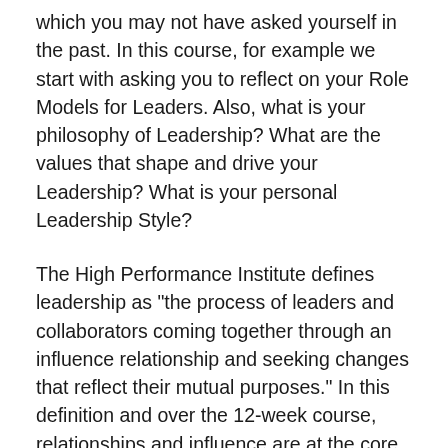which you may not have asked yourself in the past. In this course, for example we start with asking you to reflect on your Role Models for Leaders. Also, what is your philosophy of Leadership? What are the values that shape and drive your Leadership? What is your personal Leadership Style?
The High Performance Institute defines leadership as "the process of leaders and collaborators coming together through an influence relationship and seeking changes that reflect their mutual purposes." In this definition and over the 12-week course, relationships and influence are at the core of the lessons. The practices -- envisioning, enlisting, embodying,